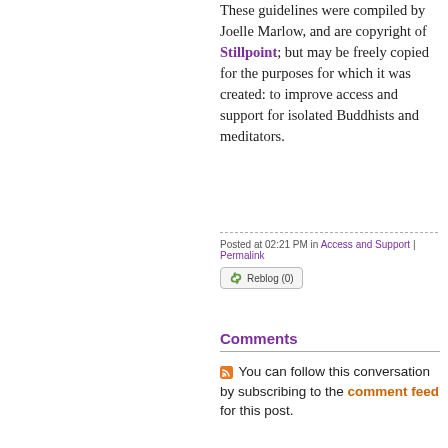These guidelines were compiled by Joelle Marlow, and are copyright of Stillpoint; but may be freely copied for the purposes for which it was created: to improve access and support for isolated Buddhists and meditators.
Posted at 02:21 PM in Access and Support | Permalink
Comments
You can follow this conversation by subscribing to the comment feed for this post.